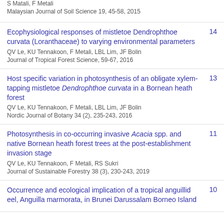S Matali, F Metali
Malaysian Journal of Soil Science 19, 45-58, 2015
Ecophysiological responses of mistletoe Dendrophthoe curvata (Loranthaceae) to varying environmental parameters | QV Le, KU Tennakoon, F Metali, LBL Lim, JF Bolin | Journal of Tropical Forest Science, 59-67, 2016 | 14
Host specific variation in photosynthesis of an obligate xylem-tapping mistletoe Dendrophthoe curvata in a Bornean heath forest | QV Le, KU Tennakoon, F Metali, LBL Lim, JF Bolin | Nordic Journal of Botany 34 (2), 235-243, 2016 | 13
Photosynthesis in co-occurring invasive Acacia spp. and native Bornean heath forest trees at the post-establishment invasion stage | QV Le, KU Tennakoon, F Metali, RS Sukri | Journal of Sustainable Forestry 38 (3), 230-243, 2019 | 11
Occurrence and ecological implication of a tropical anguillid eel, Anguilla marmorata, in Brunei Darussalam Borneo Island... | 10